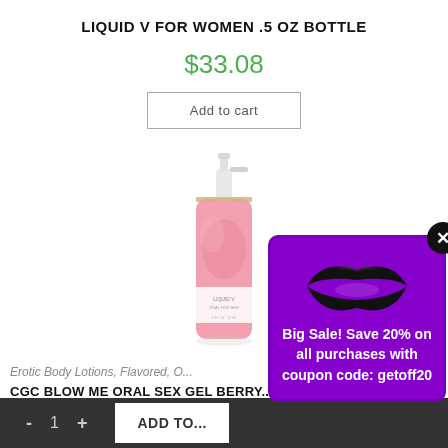LIQUID V FOR WOMEN .5 OZ BOTTLE
$33.08
Add to cart
[Figure (photo): Pink spray bottle product photo of Liquid V for Women .5 oz]
Erotic Body Lotions, Flavored, O...
CGC BLOW ME ORAL SEX GEL BERRY
[Figure (infographic): Popup advertisement with black lip print icon and text: Big Sale! Save 20% on all purchases with coupon code: getoff20, with purple border and X close button]
- 1 + ADD TO...